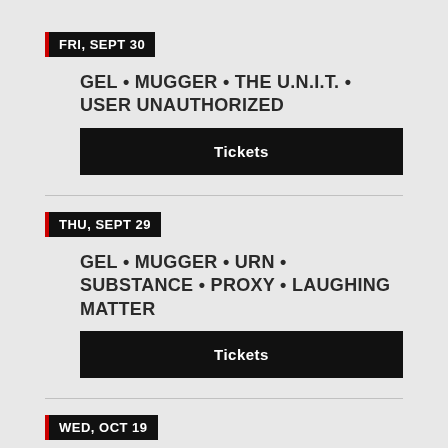FRI, SEPT 30
GEL • MUGGER • THE U.N.I.T. • USER UNAUTHORIZED
Tickets
THU, SEPT 29
GEL • MUGGER • URN • SUBSTANCE • PROXY • LAUGHING MATTER
Tickets
WED, OCT 19